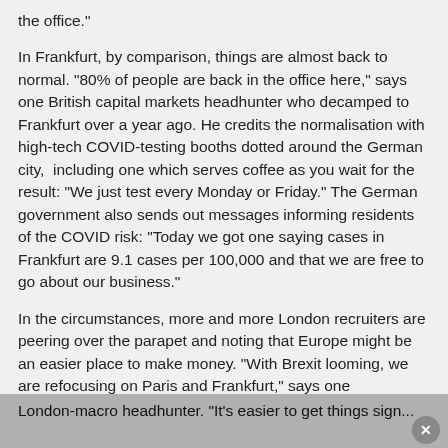the office."
In Frankfurt, by comparison, things are almost back to normal. "80% of people are back in the office here," says one British capital markets headhunter who decamped to Frankfurt over a year ago. He credits the normalisation with high-tech COVID-testing booths dotted around the German city,  including one which serves coffee as you wait for the result: "We just test every Monday or Friday." The German government also sends out messages informing residents of the COVID risk: "Today we got one saying cases in Frankfurt are 9.1 cases per 100,000 and that we are free to go about our business."
In the circumstances, more and more London recruiters are peering over the parapet and noting that Europe might be an easier place to make money. "With Brexit looming, we are refocusing on Paris and Frankfurt," says one London-macro headhunter. "It's easier to get things sign...